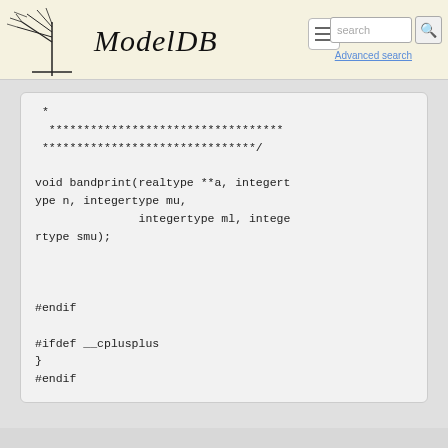ModelDB — Advanced search
* ********************************** *******************************/ 
void bandprint(realtype **a, integertype n, integertype mu,
               integertype ml, integertype smu);


#endif

#ifdef __cplusplus
}
#endif